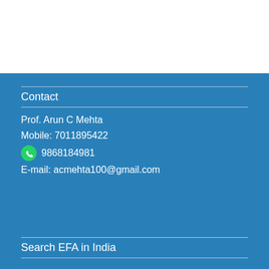Contact
Prof. Arun C Mehta
Mobile: 7011895422
9868184981
E-mail: acmehta100@gmail.com
Search EFA in India